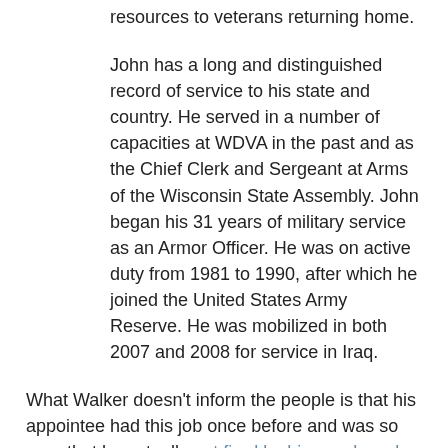resources to veterans returning home.
John has a long and distinguished record of service to his state and country. He served in a number of capacities at WDVA in the past and as the Chief Clerk and Sergeant at Arms of the Wisconsin State Assembly. John began his 31 years of military service as an Armor Officer. He was on active duty from 1981 to 1990, after which he joined the United States Army Reserve. He was mobilized in both 2007 and 2008 for service in Iraq.
What Walker doesn't inform the people is that his appointee had this job once before and was so poor that he actually got fired by his own board.
Now that he was forced back upon them, several board members, distinguished officers of our military, has resigned rather than be part of Scocos' corruption and incompetence.
And yes, as blue cheddar reports, Scocos is still not good for